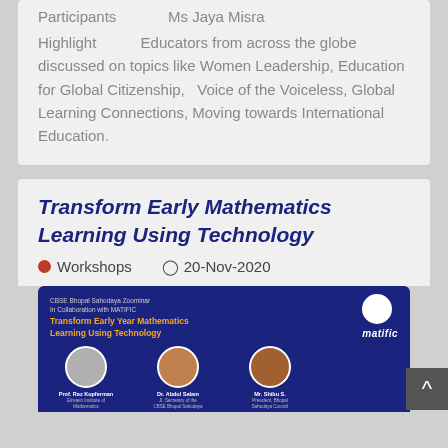Participants    Ms Jaya Misra
Highlight    Educators from across the globe discussed on topics like Women Leadership, Education for Global Citizenship,  Voice of the Voiceless, Global Learning Connections, Moving towards International Education.
Transform Early Mathematics Learning Using Technology
Workshops    20-Nov-2020
[Figure (infographic): CBSE Bhopal Sahodaya Zoominar in Collaboration with MATIFIC banner. Title: Transform Early Year Mathematics Learning Using Technology. Shows matific logo and three speakers: Prof. Raz Kupferman, Dr. Abdul Salam, Mr. Shibu S. with their designations.]